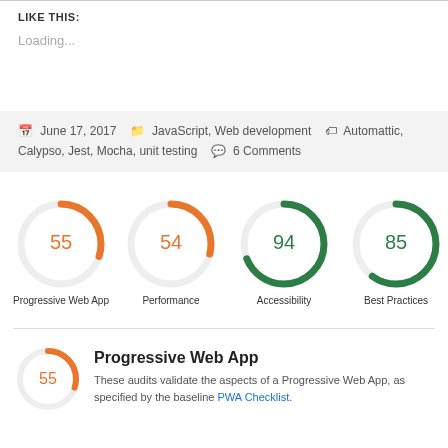LIKE THIS:
Loading...
June 17, 2017   JavaScript, Web development   Automattic, Calypso, Jest, Mocha, unit testing   6 Comments
[Figure (donut-chart): Progressive Web App]
Progressive Web App
These audits validate the aspects of a Progressive Web App, as specified by the baseline PWA Checklist.